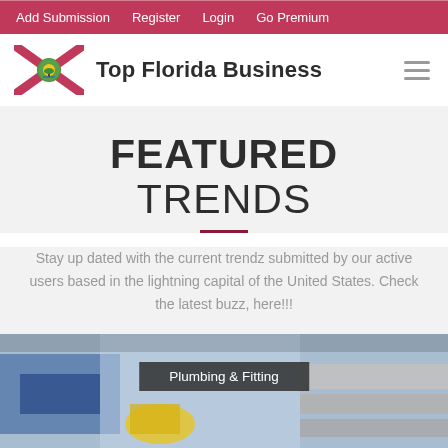Add Submission  Register  Login  Go Premium
Top Florida Business
FEATURED TRENDS
Stay up dated with the current trendz submitted by our active users based in the lightning capital of the United States. Check the latest buzz, here!!!
[Figure (photo): Plumbing and fitting work photo with label 'Plumbing & Fitting']